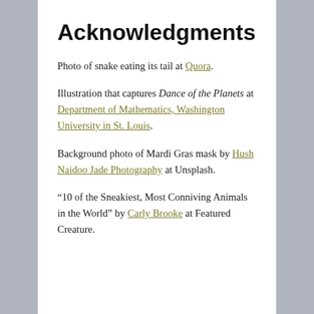Acknowledgments
Photo of snake eating its tail at Quora.
Illustration that captures Dance of the Planets at Department of Mathematics, Washington University in St. Louis.
Background photo of Mardi Gras mask by Hush Naidoo Jade Photography at Unsplash.
“10 of the Sneakiest, Most Conniving Animals in the World” by Carly Brooke at Featured Creature.